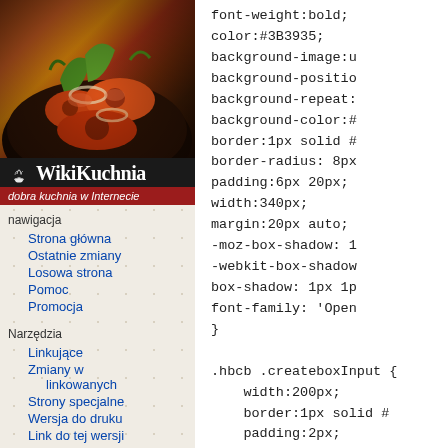[Figure (screenshot): WikiKuchnia website sidebar showing food photo, logo, navigation links and tools section]
font-weight:bold;
color:#3B3935;
background-image:u
background-positio
background-repeat:
background-color:#
border:1px solid #
border-radius: 8px
padding:6px 20px;
width:340px;
margin:20px auto;
-moz-box-shadow: 1
-webkit-box-shadow
box-shadow: 1px 1p
font-family: 'Open
}

.hbcb .createboxInput {
    width:200px;
    border:1px solid #
    padding:2px;
    font-size:13px;
    line-height:normal
}